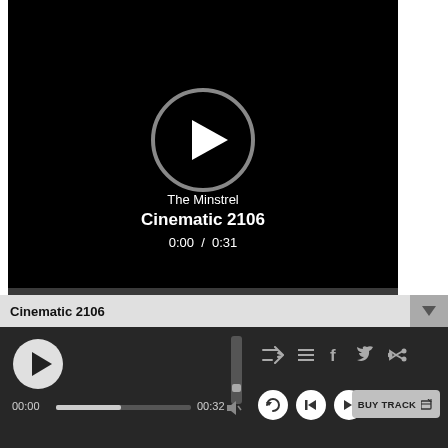[Figure (screenshot): Video player showing black screen with circular play button, track title 'Cinematic 2106' by artist 'The Minstrel', time display '0:00 / 0:31']
The Minstrel
Cinematic 2106
0:00 / 0:31
Cinematic 2106
00:00
00:32
BUY TRACK